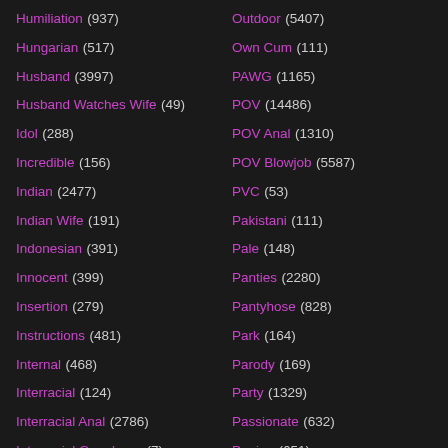Humiliation (937)
Hungarian (517)
Husband (3997)
Husband Watches Wife (49)
Idol (288)
Incredible (156)
Indian (2477)
Indian Wife (191)
Indonesian (391)
Innocent (399)
Insertion (279)
Instructions (481)
Internal (468)
Interracial (124)
Interracial Anal (2786)
Interracial Gangbang (7)
Outdoor (5407)
Own Cum (111)
PAWG (1165)
POV (14486)
POV Anal (1310)
POV Blowjob (5587)
PVC (53)
Pakistani (111)
Pale (148)
Panties (2280)
Pantyhose (828)
Park (164)
Parody (169)
Party (1329)
Passionate (632)
Peeing (651)